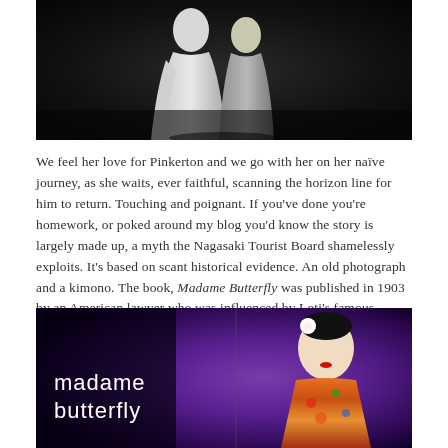[Figure (photo): Stage performance photo showing two figures in white/light costumes against a dark black background, opera stage scene]
We feel her love for Pinkerton and we go with her on her naïve journey, as she waits, ever faithful, scanning the horizon line for him to return. Touching and poignant. If you've done you're homework, or poked around my blog you'd know the story is largely made up, a myth the Nagasaki Tourist Board shamelessly exploits. It's based on scant historical evidence. An old photograph and a kimono. The book, Madame Butterfly was published in 1903 by an American lawyer who was influenced by Loti's famous Madame Chrysanthemum. Are you following me? Because here come's the geisha connection.
[Figure (photo): Promotional image for Madame Butterfly showing a woman in a colorful kimono with white flower in her hair against a purple background, with 'madame butterfly' text in white on the left]